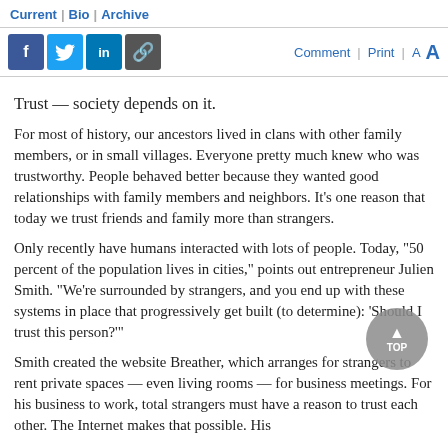Current | Bio | Archive
Trust — society depends on it.
For most of history, our ancestors lived in clans with other family members, or in small villages. Everyone pretty much knew who was trustworthy. People behaved better because they wanted good relationships with family members and neighbors. It's one reason that today we trust friends and family more than strangers.
Only recently have humans interacted with lots of people. Today, "50 percent of the population lives in cities," points out entrepreneur Julien Smith. "We're surrounded by strangers, and you end up with these systems in place that progressively get built (to determine): 'Should I trust this person?'"
Smith created the website Breather, which arranges for strangers to rent private spaces — even living rooms — for business meetings. For his business to work, total strangers must have a reason to trust each other. The Internet makes that possible. His